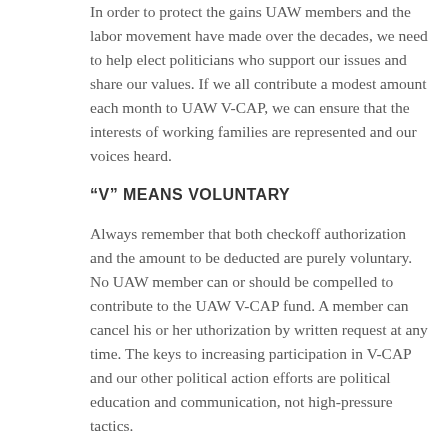In order to protect the gains UAW members and the labor movement have made over the decades, we need to help elect politicians who support our issues and share our values. If we all contribute a modest amount each month to UAW V-CAP, we can ensure that the interests of working families are represented and our voices heard.
“V” MEANS VOLUNTARY
Always remember that both checkoff authorization and the amount to be deducted are purely voluntary. No UAW member can or should be compelled to contribute to the UAW V-CAP fund. A member can cancel his or her uthorization by written request at any time. The keys to increasing participation in V-CAP and our other political action efforts are political education and communication, not high-pressure tactics.
UAW V-CAP is an independent political committee created by the UAW. This committee does not ask for